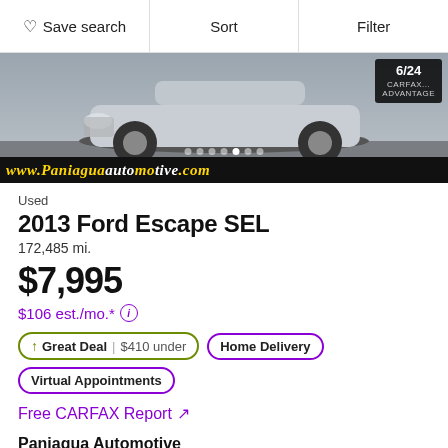Save search | Sort | Filter
[Figure (photo): Photo of a 2013 Ford Escape SUV with dealer banner 'www.PaniaguaAutomotive.com' at the bottom and a 6/24 image counter badge with CARFAX Advantage logo. Navigation dots visible indicating multiple photos.]
Used
2013 Ford Escape SEL
172,485 mi.
$7,995
$106 est./mo.*
↑ Great Deal | $410 under
Home Delivery
Virtual Appointments
Free CARFAX Report ↗
Paniagua Automotive
5.0 ★★★★★ (1 review)
30 mi. from 35740